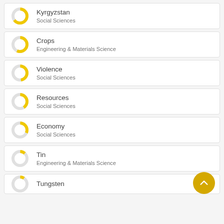Kyrgyzstan · Social Sciences
Crops · Engineering & Materials Science
Violence · Social Sciences
Resources · Social Sciences
Economy · Social Sciences
Tin · Engineering & Materials Science
Tungsten